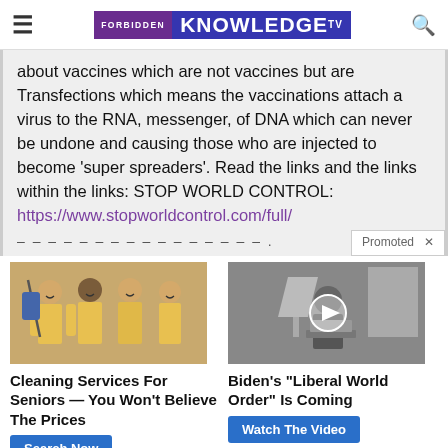FORBIDDEN KNOWLEDGE TV
about vaccines which are not vaccines but are Transfections which means the vaccinations attach a virus to the RNA, messenger, of DNA which can never be undone and causing those who are injected to become ‘super spreaders’. Read the links and the links within the links: STOP WORLD CONTROL: https://www.stopworldcontrol.com/full/ ––––––––––––––––.
[Figure (photo): Four women in yellow uniforms holding cleaning equipment smiling]
Cleaning Services For Seniors — You Won't Believe The Prices
[Figure (photo): Black and white photo of elderly man at laptop with video play button overlay]
Biden's "Liberal World Order" Is Coming